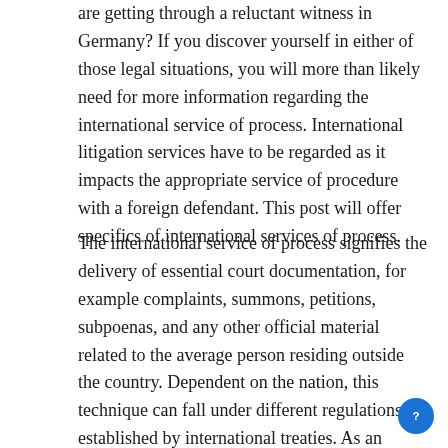are getting through a reluctant witness in Germany? If you discover yourself in either of those legal situations, you will more than likely need for more information regarding the international service of process. International litigation services have to be regarded as it impacts the appropriate service of procedure with a foreign defendant. This post will offer specifics of international services of process.
The international service of process signifies the delivery of essential court documentation, for example complaints, summons, petitions, subpoenas, and any other official material related to the average person residing outside the country. Dependent on the nation, this technique can fall under different regulations as established by international treaties. As an example, the vast majority of industrialized nations are susceptible to the Hague Convention Treaty